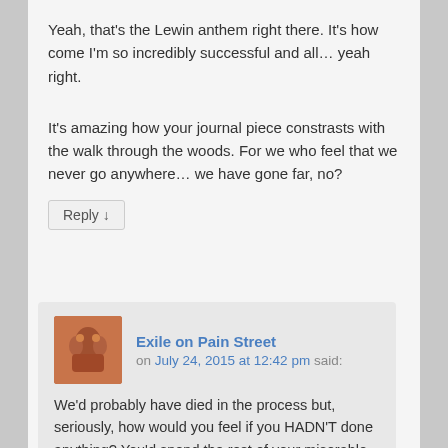Yeah, that's the Lewin anthem right there. It's how come I'm so incredibly successful and all… yeah right.
It's amazing how your journal piece constrasts with the walk through the woods. For we who feel that we never go anywhere… we have gone far, no?
Reply ↓
Exile on Pain Street on July 24, 2015 at 12:42 pm said:
We'd probably have died in the process but, seriously, how would you feel if you HADN'T done anything? You'd spend the rest of your miserable days thinking about it, wouldn't you? I would. I'm a giant coward—can't fight a lick—but I'd like to